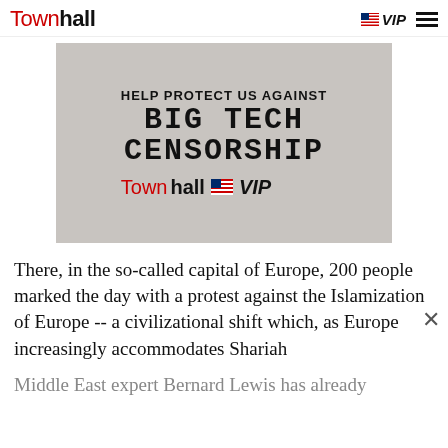Townhall | VIP
[Figure (screenshot): Advertisement for Townhall VIP subscription. Text reads: HELP PROTECT US AGAINST BIG TECH CENSORSHIP. Shows Townhall VIP logo. Background is a grey textured stone surface.]
There, in the so-called capital of Europe, 200 people marked the day with a protest against the Islamization of Europe -- a civilizational shift which, as Europe increasingly accommodates Shariah
Middle East expert Bernard Lewis has already